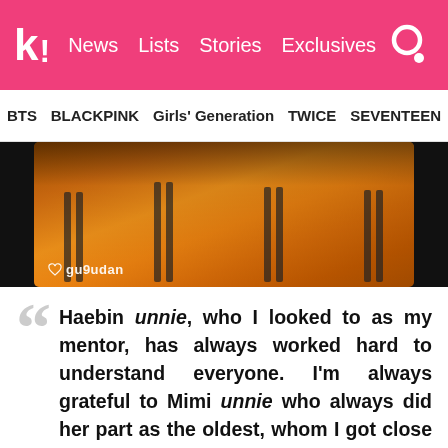k! News  Lists  Stories  Exclusives
BTS  BLACKPINK  Girls' Generation  TWICE  SEVENTEEN
[Figure (photo): Group of people wearing orange tracksuits with black stripes, gugudan watermark visible in lower left]
Haebin unnie, who I looked to as my mentor, has always worked hard to understand everyone. I'm always grateful to Mimi unnie who always did her part as the oldest, whom I got close to a little too late and that kept a distance between us. I'm sorry to Liu Xie Ning (Sally) because I always thought your Korean was cute since